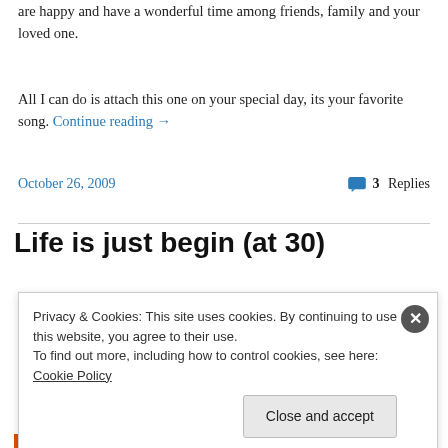are happy and have a wonderful time among friends, family and your loved one.
All I can do is attach this one on your special day, its your favorite song. Continue reading →
October 26, 2009   3 Replies
Life is just begin (at 30)
Privacy & Cookies: This site uses cookies. By continuing to use this website, you agree to their use. To find out more, including how to control cookies, see here: Cookie Policy
Close and accept